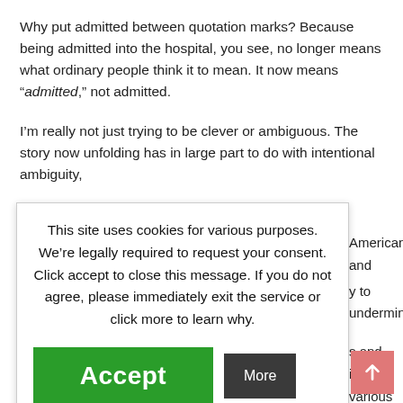Why put admitted between quotation marks? Because being admitted into the hospital, you see, no longer means what ordinary people think it to mean. It now means “admitted,” not admitted.
I’m really not just trying to be clever or ambiguous. The story now unfolding has in large part to do with intentional ambiguity, Americans and y to undermine, s and in various nowledge. This covered in a justice, much the allegations
This site uses cookies for various purposes. We’re legally required to request your consent. Click accept to close this message. If you do not agree, please immediately exit the service or click more to learn why.